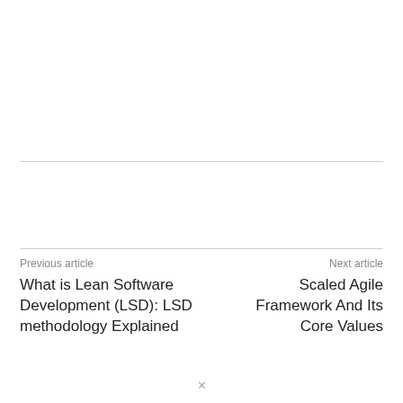Previous article
Next article
What is Lean Software Development (LSD): LSD methodology Explained
Scaled Agile Framework And Its Core Values